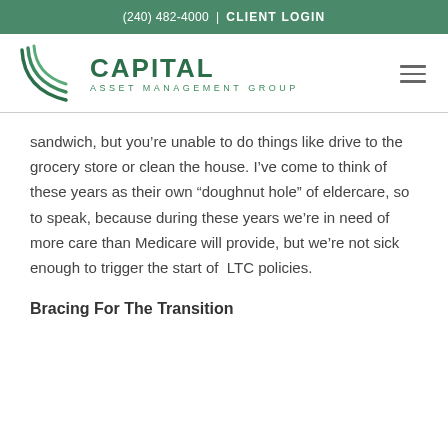(240) 482-4000 | CLIENT LOGIN
[Figure (logo): Capital Asset Management Group logo with green swoosh graphic and green text]
sandwich, but you’re unable to do things like drive to the grocery store or clean the house. I’ve come to think of these years as their own “doughnut hole” of eldercare, so to speak, because during these years we’re in need of more care than Medicare will provide, but we’re not sick enough to trigger the start of LTC policies.
Bracing For The Transition